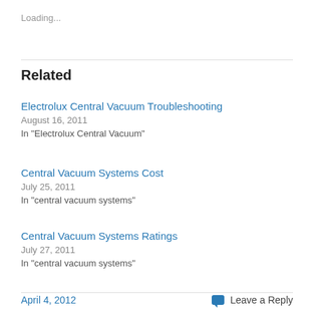Loading...
Related
Electrolux Central Vacuum Troubleshooting
August 16, 2011
In "Electrolux Central Vacuum"
Central Vacuum Systems Cost
July 25, 2011
In "central vacuum systems"
Central Vacuum Systems Ratings
July 27, 2011
In "central vacuum systems"
April 4, 2012   Leave a Reply